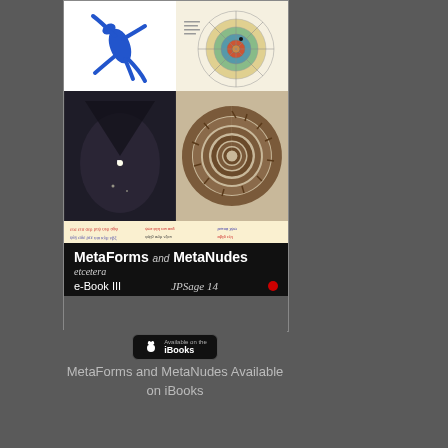[Figure (illustration): Book cover for 'MetaForms and MetaNudes etcetera e-Book III' showing a collage of four images: top-left has a blue gecko/lizard figure on white, top-right has a circular diagram on yellowed paper, bottom-left has a dark atmospheric painting with a glowing orb, bottom-right has a spiral ammonite fossil. Below the images is a strip of handwritten/printed text, then a black title bar. An iBooks download badge appears at the bottom.]
MetaForms and MetaNudes Available on iBooks